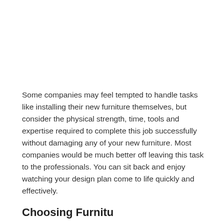Some companies may feel tempted to handle tasks like installing their new furniture themselves, but consider the physical strength, time, tools and expertise required to complete this job successfully without damaging any of your new furniture. Most companies would be much better off leaving this task to the professionals. You can sit back and enjoy watching your design plan come to life quickly and effectively.
Choosing Furniture